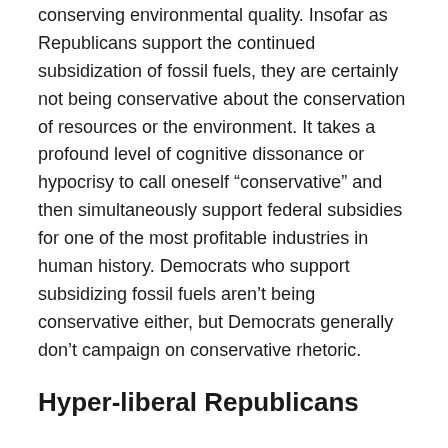conserving environmental quality. Insofar as Republicans support the continued subsidization of fossil fuels, they are certainly not being conservative about the conservation of resources or the environment. It takes a profound level of cognitive dissonance or hypocrisy to call oneself “conservative” and then simultaneously support federal subsidies for one of the most profitable industries in human history. Democrats who support subsidizing fossil fuels aren’t being conservative either, but Democrats generally don’t campaign on conservative rhetoric.
Hyper-liberal Republicans
Somehow, baffling as it may be, Republicans today have convinced the country that being reckless with the environment, opposing women’s and gay rights for